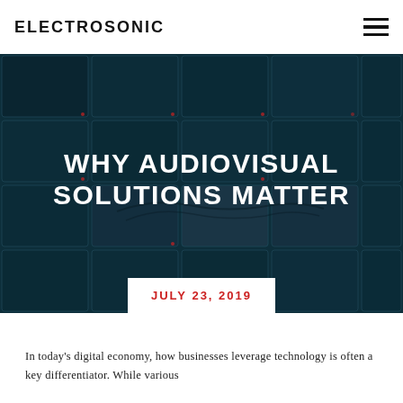ELECTROSONIC
[Figure (photo): Dark background showing a grid array of monitor screens with a subtle eye/eyelashes image partially visible, overlaid with dark teal/navy color. Hero image for blog post.]
WHY AUDIOVISUAL SOLUTIONS MATTER
JULY 23, 2019
In today's digital economy, how businesses leverage technology is often a key differentiator. While various